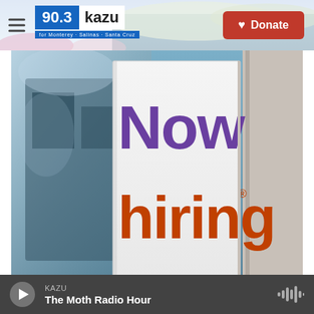90.3 KAZU — For Monterey · Salinas · Santa Cruz
[Figure (photo): A 'Now hiring' sign in a storefront window. 'Now' is in purple text and 'hiring' is in orange text on a white placard, with a blurred interior background visible.]
Mario Tama / Getty Images
Employers desperate for workers are turning to signing bonuses and other hiring incentives, even for positions that pay a low hourly wage.
KAZU — The Moth Radio Hour